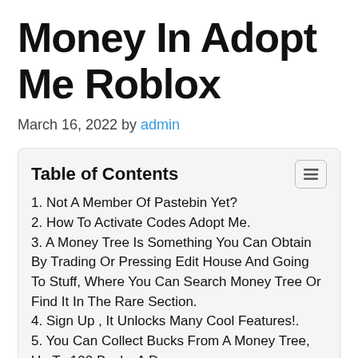Money In Adopt Me Roblox
March 16, 2022 by admin
Table of Contents
1. Not A Member Of Pastebin Yet?
2. How To Activate Codes Adopt Me.
3. A Money Tree Is Something You Can Obtain By Trading Or Pressing Edit House And Going To Stuff, Where You Can Search Money Tree Or Find It In The Rare Section.
4. Sign Up , It Unlocks Many Cool Features!.
5. You Can Collect Bucks From A Money Tree, Up To 100 Bucks A Day.